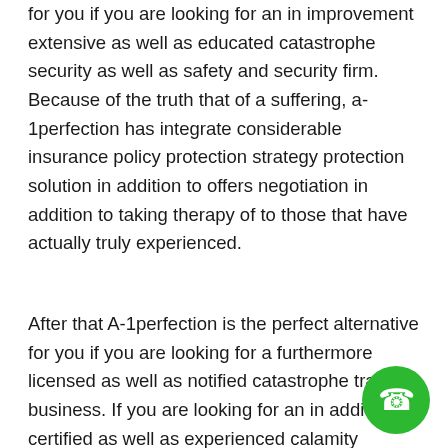for you if you are looking for an in improvement extensive as well as educated catastrophe security as well as safety and security firm. Because of the truth that of a suffering, a-1perfection has integrate considerable insurance policy protection strategy protection solution in addition to offers negotiation in addition to taking therapy of to those that have actually truly experienced.
After that A-1perfection is the perfect alternative for you if you are looking for a furthermore licensed as well as notified catastrophe tracking business. If you are looking for an in addition certified as well as experienced calamity security solution, after that A-1perfection is the excellent alternative for you. A-1perfection has a great...
[Figure (illustration): Green circular phone/call button icon in the bottom right corner]